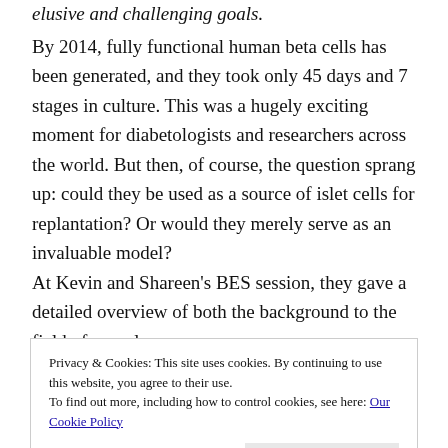elusive and challenging goals.
By 2014, fully functional human beta cells has been generated, and they took only 45 days and 7 stages in culture. This was a hugely exciting moment for diabetologists and researchers across the world. But then, of course, the question sprang up: could they be used as a source of islet cells for replantation? Or would they merely serve as an invaluable model?
At Kevin and Shareen’s BES session, they gave a detailed overview of both the background to the field of complex
Privacy & Cookies: This site uses cookies. By continuing to use this website, you agree to their use.
To find out more, including how to control cookies, see here: Our Cookie Policy
Close and accept
already been the year that Chinese scientists grew